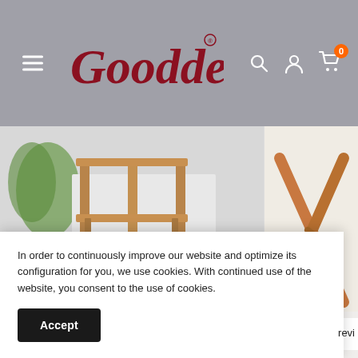[Figure (screenshot): Gooddegg e-commerce website header with hamburger menu, Gooddegg logo in dark red, search icon, account icon, and cart icon with orange badge showing 0]
[Figure (photo): Wooden bar table/frame with three vertical supports, photographed outdoors on a patio with plants visible in the background]
GOODDEGG
[Figure (photo): Partial image of a wooden folding furniture piece (chair or table) on the right side, partially cut off]
GOODDEGG
oldi
In order to continuously improve our website and optimize its configuration for you, we use cookies. With continued use of the website, you consent to the use of cookies.
Accept
revi